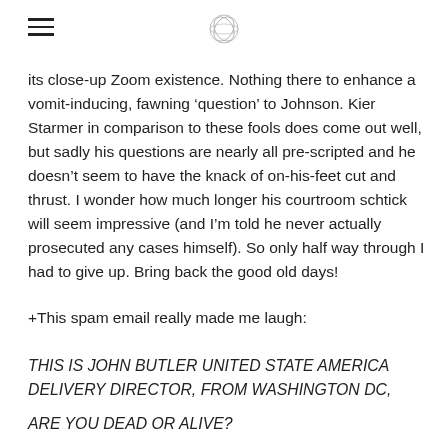[hamburger menu icon] [logo image]
its close-up Zoom existence. Nothing there to enhance a vomit-inducing, fawning ‘question’ to Johnson. Kier Starmer in comparison to these fools does come out well, but sadly his questions are nearly all pre-scripted and he doesn’t seem to have the knack of on-his-feet cut and thrust. I wonder how much longer his courtroom schtick will seem impressive (and I’m told he never actually prosecuted any cases himself). So only half way through I had to give up. Bring back the good old days!
+This spam email really made me laugh:
THIS IS JOHN BUTLER UNITED STATE AMERICA DELIVERY DIRECTOR, FROM WASHINGTON DC,
ARE YOU DEAD OR ALIVE?